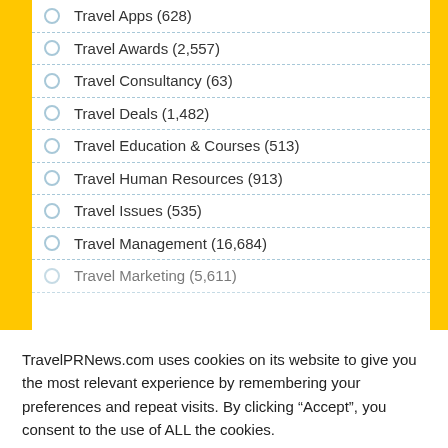Travel Apps (628)
Travel Awards (2,557)
Travel Consultancy (63)
Travel Deals (1,482)
Travel Education & Courses (513)
Travel Human Resources (913)
Travel Issues (535)
Travel Management (16,684)
Travel Marketing (5,611)
TravelPRNews.com uses cookies on its website to give you the most relevant experience by remembering your preferences and repeat visits. By clicking “Accept”, you consent to the use of ALL the cookies.
Cookie settings
ACCEPT